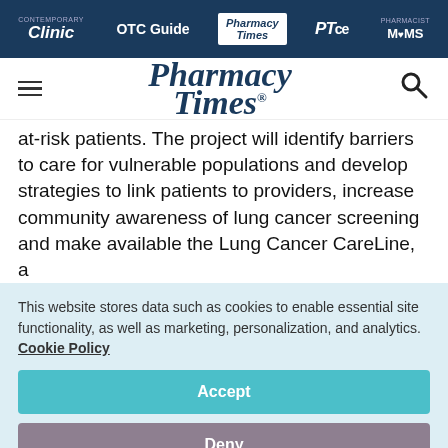Clinic | OTC Guide | Pharmacy Times | PTce | Pharmacist MOMS
[Figure (logo): Pharmacy Times logo with hamburger menu and search icon]
at-risk patients. The project will identify barriers to care for vulnerable populations and develop strategies to link patients to providers, increase community awareness of lung cancer screening and make available the Lung Cancer CareLine, a
This website stores data such as cookies to enable essential site functionality, as well as marketing, personalization, and analytics. Cookie Policy
Accept
Deny